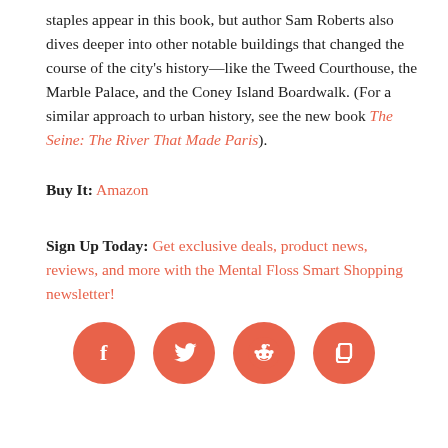staples appear in this book, but author Sam Roberts also dives deeper into other notable buildings that changed the course of the city's history—like the Tweed Courthouse, the Marble Palace, and the Coney Island Boardwalk. (For a similar approach to urban history, see the new book The Seine: The River That Made Paris).
Buy It: Amazon
Sign Up Today: Get exclusive deals, product news, reviews, and more with the Mental Floss Smart Shopping newsletter!
[Figure (other): Four salmon/orange circular social media icon buttons: Facebook (f), Twitter (bird), Reddit (alien), and a copy/share icon]